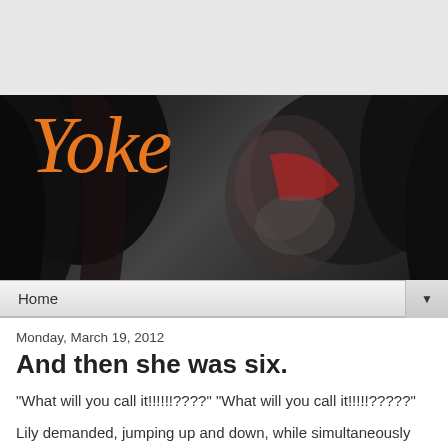[Figure (photo): Blog header banner with dark background showing hair/figures and orange italic script text reading 'Yoke']
Home ▼
Monday, March 19, 2012
And then she was six.
"What will you call it!!!!!!????" "What will you call it!!!!!?????"
Lily demanded, jumping up and down, while simultaneously smacking my thigh.
She was, of course, referring to her birthday blog.